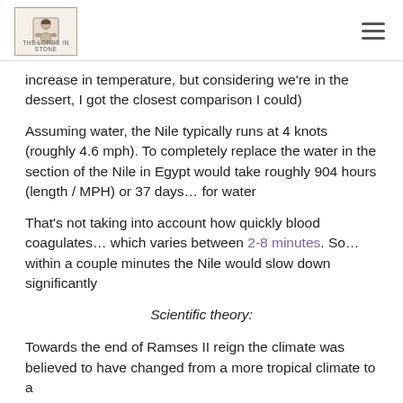THE LORDS IN STONE [logo]
increase in temperature, but considering we're in the dessert, I got the closest comparison I could)
Assuming water, the Nile typically runs at 4 knots (roughly 4.6 mph). To completely replace the water in the section of the Nile in Egypt would take roughly 904 hours (length / MPH) or 37 days... for water
That's not taking into account how quickly blood coagulates... which varies between 2-8 minutes. So... within a couple minutes the Nile would slow down significantly
Scientific theory:
Towards the end of Ramses II reign the climate was believed to have changed from a more tropical climate to a